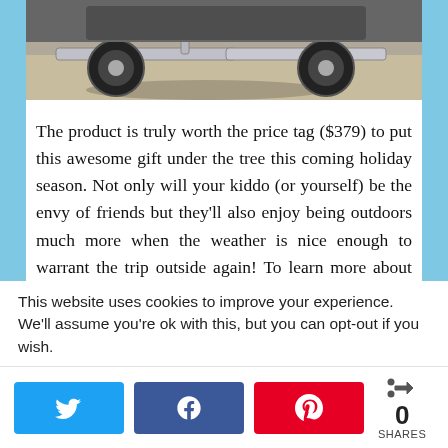[Figure (photo): Close-up photo of an electric scooter wheels and deck on pavement, partial top view cropped]
The product is truly worth the price tag ($379) to put this awesome gift under the tree this coming holiday season. Not only will your kiddo (or yourself) be the envy of friends but they'll also enjoy being outdoors much more when the weather is nice enough to warrant the trip outside again! To learn more about the features of the E Prime Scooter, you can
This website uses cookies to improve your experience. We'll assume you're ok with this, but you can opt-out if you wish.